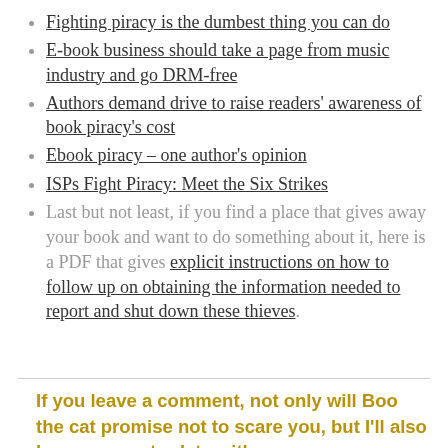Fighting piracy is the dumbest thing you can do
E-book business should take a page from music industry and go DRM-free
Authors demand drive to raise readers' awareness of book piracy's cost
Ebook piracy – one author's opinion
ISPs Fight Piracy: Meet the Six Strikes
Last but not least, if you find a place that gives away your book and want to do something about it, here is a PDF that gives explicit instructions on how to follow up on obtaining the information needed to report and shut down these thieves.
If you leave a comment, not only will Boo the cat promise not to scare you, but I'll also keep you up-to-date with my